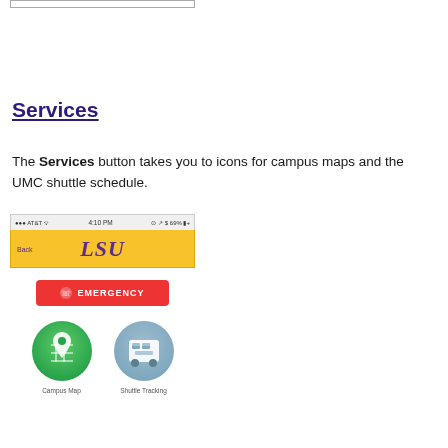[Figure (screenshot): Top portion of a mobile app screenshot showing a white rectangle with border]
Services
The Services button takes you to icons for campus maps and the UMC shuttle schedule.
[Figure (screenshot): Mobile app screenshot showing LSU yellow header with purple LSU text, a red Emergency button, and two icons: Campus Map (green circle with map pin) and Shuttle Tracking (blue-grey circle with bus icon)]